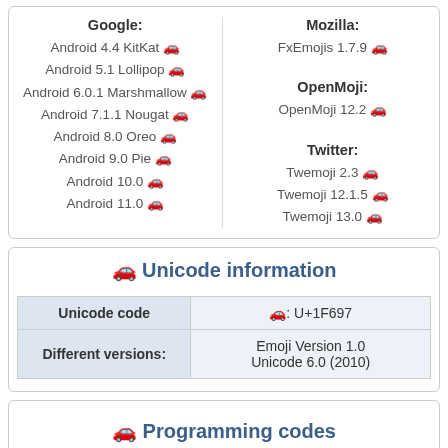Google: Android 4.4 KitKat 🚗, Android 5.1 Lollipop 🚗, Android 6.0.1 Marshmallow 🚗, Android 7.1.1 Nougat 🚗, Android 8.0 Oreo 🚗, Android 9.0 Pie 🚗, Android 10.0 🚗, Android 11.0 🚗
Mozilla: FxEmojis 1.7.9 🚗
OpenMoji: OpenMoji 12.2 🚗
Twitter: Twemoji 2.3 🚗, Twemoji 12.1.5 🚗, Twemoji 13.0 🚗
🚗 Unicode information
| Unicode code | Different versions: |
| --- | --- |
| 🚗: U+1F697 | Emoji Version 1.0
Unicode 6.0 (2010) |
🚗 Programming codes